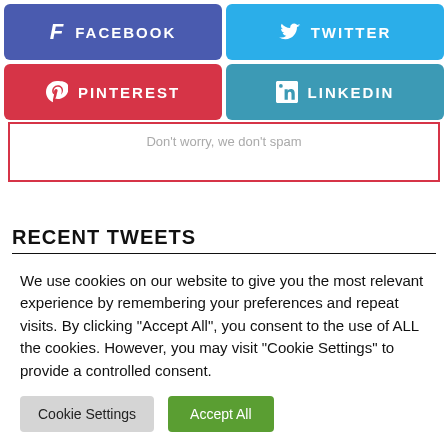[Figure (infographic): Four social media share buttons: Facebook (blue-purple), Twitter (light blue), Pinterest (red), LinkedIn (teal blue)]
Don't worry, we don't spam
RECENT TWEETS
We use cookies on our website to give you the most relevant experience by remembering your preferences and repeat visits. By clicking "Accept All", you consent to the use of ALL the cookies. However, you may visit "Cookie Settings" to provide a controlled consent.
Cookie Settings  Accept All